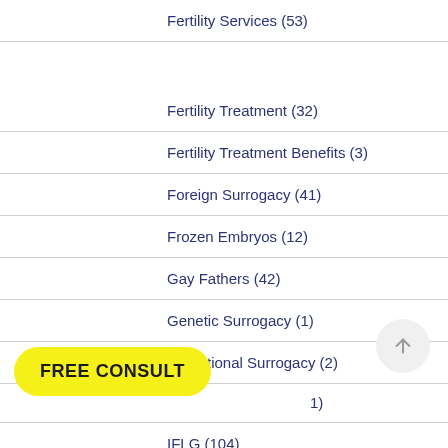Fertility Services (53)
Fertility Treatment (32)
Fertility Treatment Benefits (3)
Foreign Surrogacy (41)
Frozen Embryos (12)
Gay Fathers (42)
Genetic Surrogacy (1)
Gestational Surrogacy (2)
(1)
IFLG (104)
FREE CONSULT